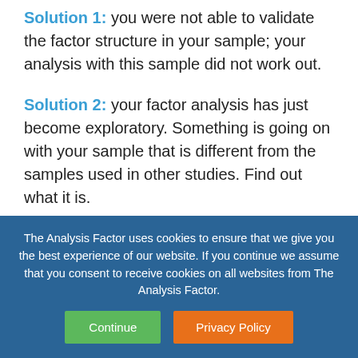Solution 1: you were not able to validate the factor structure in your sample; your analysis with this sample did not work out.
Solution 2: your factor analysis has just become exploratory. Something is going on with your sample that is different from the samples used in other studies. Find out what it is.
A few key variables in your confirmatory factor analysis which you expected to load
The Analysis Factor uses cookies to ensure that we give you the best experience of our website. If you continue we assume that you consent to receive cookies on all websites from The Analysis Factor.